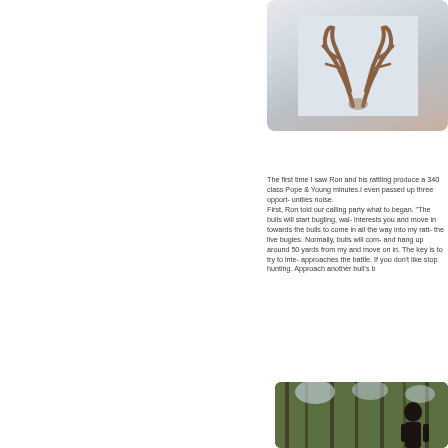[Figure (photo): Photo of elk antlers, partial view, rounded rectangle frame, snowy/light background]
The first time I saw Ron and his rattling produce a 340 class Pope & Young minutes.I even passed up three opportunities noise. First, Ron told our calling party what to began. "The bulls will start bugling, interests you and move in towards the bulls to come in all the way into my rattling the live bugles. Normally, bulls will come and hang up around 50 yards from my and move on in. The key is to try to intercept approaches the battle. If you don't like stop hunting. Approach another bull's b
[Figure (photo): Photo of person in trees/forest, outdoor hunting scene]